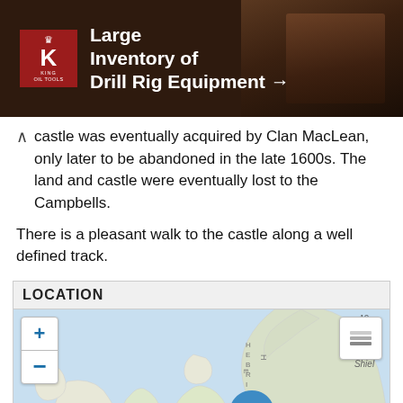[Figure (photo): Advertisement banner for King Oil Tools: Large Inventory of Drill Rig Equipment with arrow, dark brown background with drill equipment imagery and red K logo with crown]
castle was eventually acquired by Clan MacLean, only later to be abandoned in the late 1600s. The land and castle were eventually lost to the Campbells.
There is a pleasant walk to the castle along a well defined track.
LOCATION
[Figure (map): Interactive map showing location marker (blue pin) over Scottish islands/Hebrides area near Oban, with Loch Shiel and Loch Awe labeled. Map includes zoom controls (+/-) and layers button. Hebrides text visible on left side.]